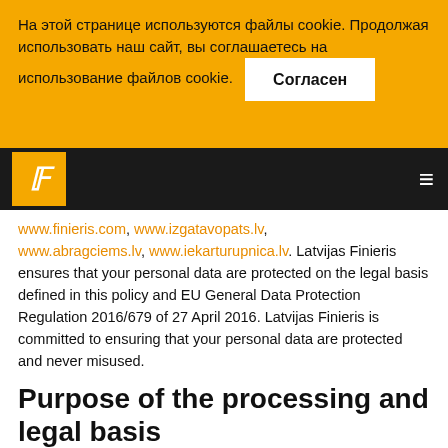На этой странице используются файлы cookie. Продолжая использовать наш сайт, вы соглашаетесь на использование файлов cookie. Согласен
Latvijas Finieris navigation bar with logo
www.finieris.com, www.izgatavopats.lv, www.abragciems.lv, www.iekarturupnica.lv. Latvijas Finieris ensures that your personal data are protected on the legal basis defined in this policy and EU General Data Protection Regulation 2016/679 of 27 April 2016. Latvijas Finieris is committed to ensuring that your personal data are protected and never misused.
Purpose of the processing and legal basis
Latvijas Finieris may use your personal data for:
Potential personnel recruitment when receiving your CV and application letter (legitimate